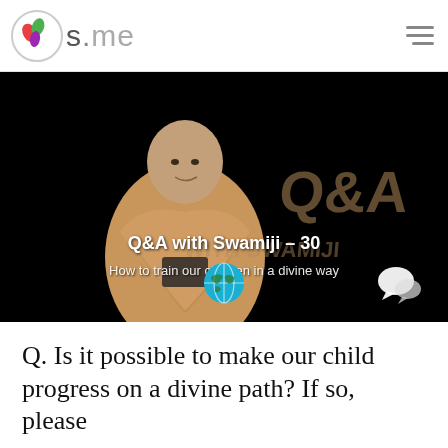os.me
[Figure (screenshot): Video thumbnail showing a monk in saffron robes seated on a dark background with text 'Q&A with Swamiji – 30' and subtitle 'How to train our children in a divine way', with decorative Q&A and WITH SWAMIJI watermark text, globe icon and chat icon at bottom]
Q. Is it possible to make our child progress on a divine path? If so, please